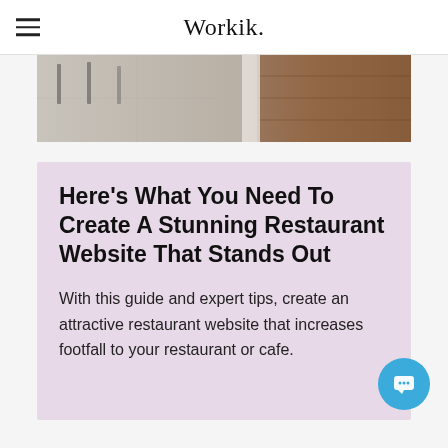Workik.
[Figure (photo): Restaurant interior photo showing floor and furniture]
Here's What You Need To Create A Stunning Restaurant Website That Stands Out
With this guide and expert tips, create an attractive restaurant website that increases footfall to your restaurant or cafe.